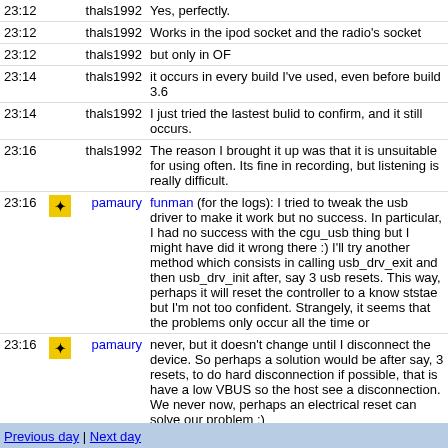| Time | Icon | Nick | Message |
| --- | --- | --- | --- |
| 23:12 |  | thals1992 | Yes, perfectly. |
| 23:12 |  | thals1992 | Works in the ipod socket and the radio's socket |
| 23:12 |  | thals1992 | but only in OF |
| 23:14 |  | thals1992 | it occurs in every build I've used, even before build 3.6 |
| 23:14 |  | thals1992 | I just tried the lastest bulid to confirm, and it still occurs. |
| 23:16 |  | thals1992 | The reason I brought it up was that it is unsuitable for using often. Its fine in recording, but listening is really difficult. |
| 23:16 | [icon] | pamaury | funman (for the logs): I tried to tweak the usb driver to make it work but no success. In particular, I had no success with the cgu_usb thing but I might have did it wrong there :) I'll try another method which consists in calling usb_drv_exit and then usb_drv_init after, say 3 usb resets. This way, perhaps it will reset the controller to a know ststae but I'm not too confident. Strangely, it seems that the problems only occur all the time or |
| 23:16 | [icon] | pamaury | never, but it doesn't change until I disconnect the device. So perhaps a solution would be after say, 3 resets, to do hard disconnection if possible, that is have a low VBUS so the host see a disconnection. We never now, perhaps an electrical reset can solve our problem :) |
| 23:18 | [icon] | bertrik | maybe the radio problem has something to do with input source muxing |
| 23:21 |  | thals1992 | that's the reason, I thought it only needed an extra 20 db, like mics require. |
Previous day | Next day